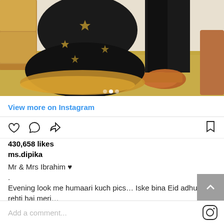[Figure (photo): Instagram photo showing two people in black traditional outfits standing on a jute/woven rug. The woman wears a black dress with gold embroidery and the man wears black pants with brown leather shoes. A gold/tan sofa is visible in the background.]
View more on Instagram
430,658 likes
ms.dipika
Mr & Mrs Ibrahim ♥
.
Evening look me humaari kuch pics… Iske bina Eid adhuri rehti hai meri…
view all 2,499 comments
Add a comment...